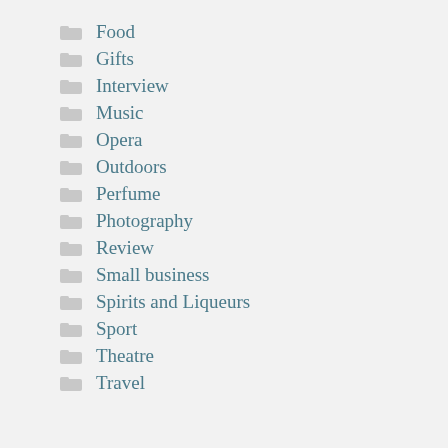Food
Gifts
Interview
Music
Opera
Outdoors
Perfume
Photography
Review
Small business
Spirits and Liqueurs
Sport
Theatre
Travel